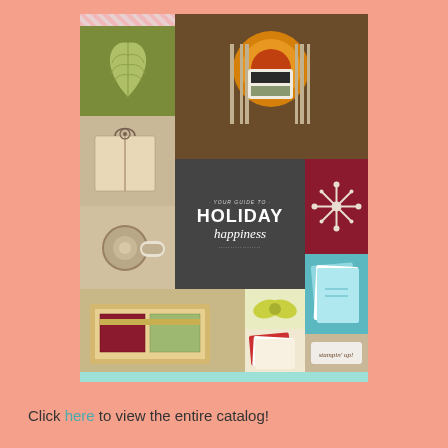[Figure (photo): Holiday Happiness catalog cover showing a collage of holiday crafting and table setting photos including: an olive green card with a leaf stamp, a Thanksgiving/holiday table setting, a gift wrap, a chalkboard-style 'Your Guide to Holiday Happiness' title panel, a red panel with a snowflake, a tape/craft supplies panel, teal cards, a kit box, a green bow, red holiday cards, and the Stampin' Up! logo. Aqua border strip at bottom.]
Click here to view the entire catalog!